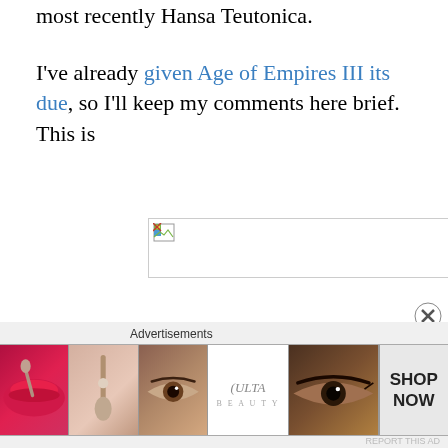most recently Hansa Teutonica.
I've already given Age of Empires III its due, so I'll keep my comments here brief.  This is
[Figure (other): Broken/missing image placeholder with small broken image icon in top-left corner, inside a rectangular bordered box]
Advertisements
[Figure (photo): Advertisement banner showing makeup-related images: red lips with makeup brush, eye with eyebrow, Ulta Beauty logo, dramatic eye makeup, and 'SHOP NOW' text panel]